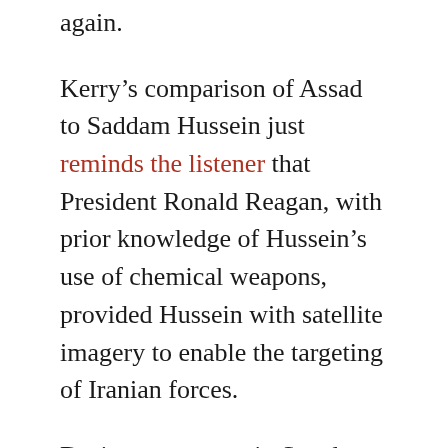again.
Kerry's comparison of Assad to Saddam Hussein just reminds the listener that President Ronald Reagan, with prior knowledge of Hussein's use of chemical weapons, provided Hussein with satellite imagery to enable the targeting of Iranian forces.
During a stopover in Sweden, President Obama tried to move his